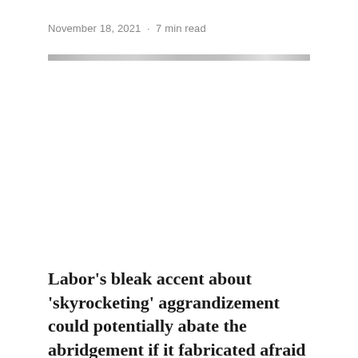November 18, 2021 · 7 min read
[Figure (photo): A partially visible photograph appearing as a narrow horizontal strip at the top of the article image area, showing a light grey/silver and white scene.]
Labor's bleak accent about 'skyrocketing' aggrandizement could potentially abate the abridgement if it fabricated afraid consumers blot